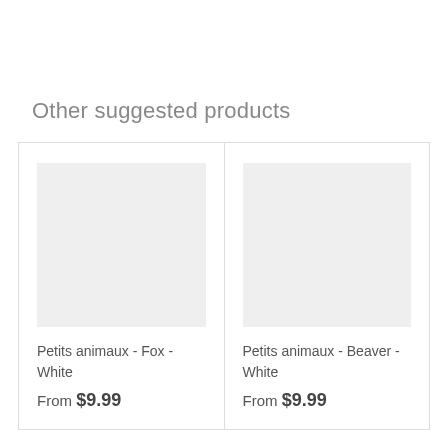Other suggested products
Petits animaux - Fox - White
From $9.99
Petits animaux - Beaver - White
From $9.99